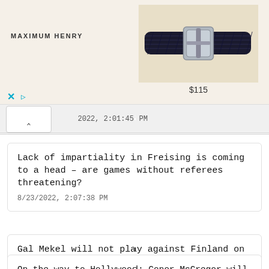[Figure (photo): Advertisement banner showing a dark navy braided leather belt with silver buckle. Brand name MAXIMUM HENRY shown on left, belt image on right with price $115 below.]
2022, 2:01:45 PM
Lack of impartiality in Freising is coming to a head – are games without referees threatening?
8/23/2022, 2:07:38 PM
Gal Mekel will not play against Finland on Thursday Israel today
8/23/2022, 2:01:46 PM
On the way to Hollywood: Conor McGregor will not return to fight in the UFC this